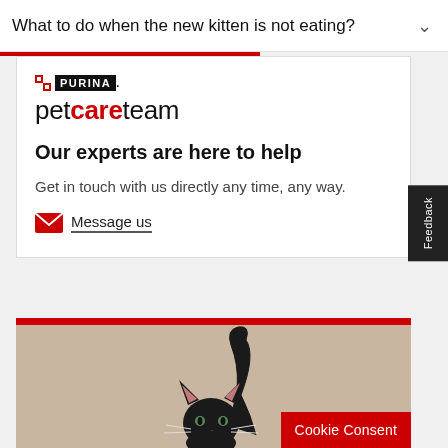What to do when the new kitten is not eating?
[Figure (logo): Purina petcareteam logo with red checkerboard icon and black PURINA text badge, followed by petcareteam wordmark in black and red]
Our experts are here to help
Get in touch with us directly any time, any way.
Message us
[Figure (photo): Photo of a black kitten with tail raised, on a beige/tan background, with a red top strip border]
Cookie Consent